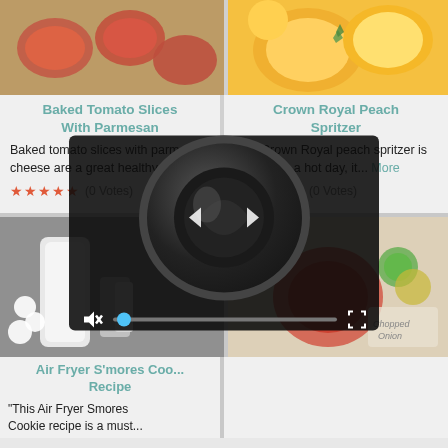[Figure (photo): Baked tomato slices with parmesan cheese on a baking sheet]
Baked Tomato Slices With Parmesan
Baked tomato slices with parmesan cheese are a great healthy... More
★★★★★ (0 Votes)
[Figure (photo): Crown Royal Peach Spritzer with peaches and mint garnish]
Crown Royal Peach Spritzer
This Crown Royal peach spritzer is perfect for a hot day, it... More
★★★★★ (0 Votes)
[Figure (photo): Air Fryer S'mores Cookie Recipe ingredients with milk and marshmallows]
Air Fryer S'mores Cookie Recipe
"This Air Fryer Smores Cookie recipe is a must..."
[Figure (photo): Chopped onion recipe with seafood and sauces]
[Figure (screenshot): Video player overlay showing camera lens reflection with playback controls, mute button, progress bar, and fullscreen button]